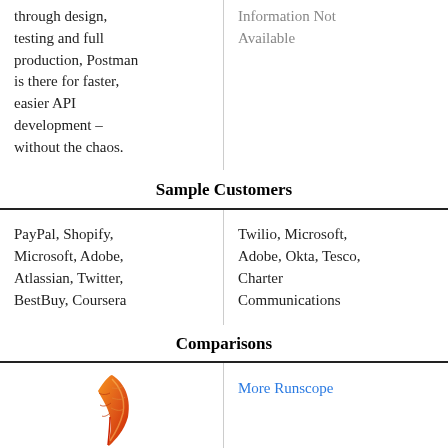through design, testing and full production, Postman is there for faster, easier API development – without the chaos.
Information Not Available
Sample Customers
PayPal, Shopify, Microsoft, Adobe, Atlassian, Twitter, BestBuy, Coursera
Twilio, Microsoft, Adobe, Okta, Tesco, Charter Communications
Comparisons
[Figure (illustration): A stylized feather quill pen icon in orange and red gradient colors]
More Runscope